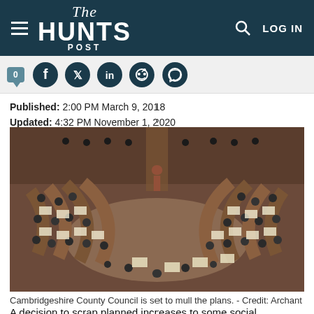The Hunts Post — LOG IN
[Figure (screenshot): Social media sharing icons row: comment count badge (0), Facebook, Twitter, LinkedIn, Reddit, WhatsApp]
Published: 2:00 PM March 9, 2018
Updated: 4:32 PM November 1, 2020
[Figure (photo): Aerial view of Cambridgeshire County Council chamber with councillors seated in curved wooden benches around a central floor, documents visible on desks.]
Cambridgeshire County Council is set to mull the plans. - Credit: Archant
A decision to scrap planned increases to some social